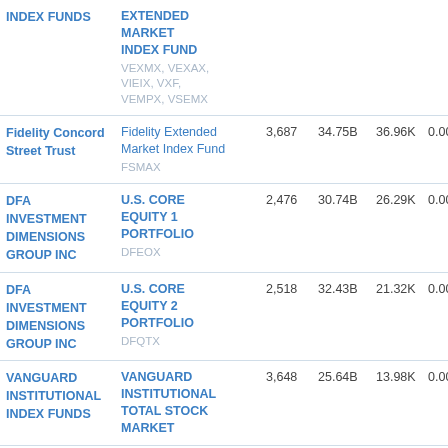| Manager | Fund | Holdings | AUM | Accounts | Fee |
| --- | --- | --- | --- | --- | --- |
| INDEX FUNDS | EXTENDED MARKET INDEX FUND
VEXMX, VEXAX, VIEIX, VXF, VEMPX, VSEMX |  |  |  |  |
| Fidelity Concord Street Trust | Fidelity Extended Market Index Fund
FSMAX | 3,687 | 34.75B | 36.96K | 0.00 |
| DFA INVESTMENT DIMENSIONS GROUP INC | U.S. CORE EQUITY 1 PORTFOLIO
DFEOX | 2,476 | 30.74B | 26.29K | 0.00 |
| DFA INVESTMENT DIMENSIONS GROUP INC | U.S. CORE EQUITY 2 PORTFOLIO
DFQTX | 2,518 | 32.43B | 21.32K | 0.00 |
| VANGUARD INSTITUTIONAL INDEX FUNDS | VANGUARD INSTITUTIONAL TOTAL STOCK MARKET | 3,648 | 25.64B | 13.98K | 0.00 |